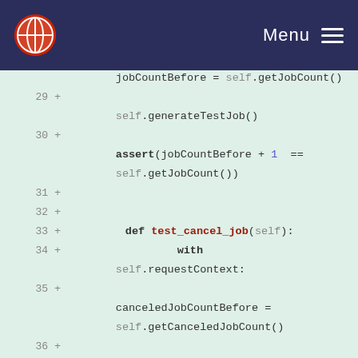Menu
[Figure (screenshot): Code diff viewer showing Python test methods with line numbers 29-37, highlighted additions with + markers on green background. Code includes jobCountBefore, generateTestJob, assert, test_cancel_job, requestContext, canceledJobCountBefore, getCanceledJobCount, jobmanagement.cancel_job, generateTestJob, canceledJobCountAfter, getCanceledJobCount.]